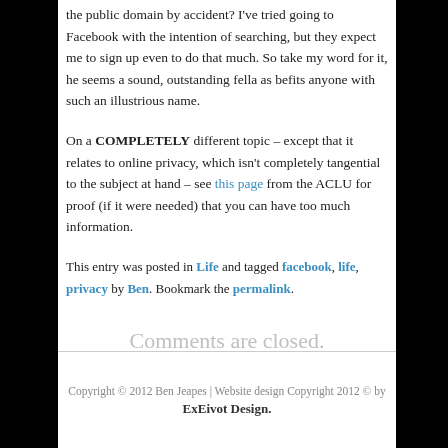the public domain by accident? I've tried going to Facebook with the intention of searching, but they expect me to sign up even to do that much. So take my word for it, he seems a sound, outstanding fella as befits anyone with such an illustrious name.
On a COMPLETELY different topic – except that it relates to online privacy, which isn't completely tangential to the subject at hand – see this page from the ACLU for proof (if it were needed) that you can have too much information.
This entry was posted in Life and tagged facebook, life, privacy by Ben. Bookmark the permalink.
Comments are closed.
Copyright © 2012 Ben Jeapes | Website design Copyright 2012 © by ExEivot Design.